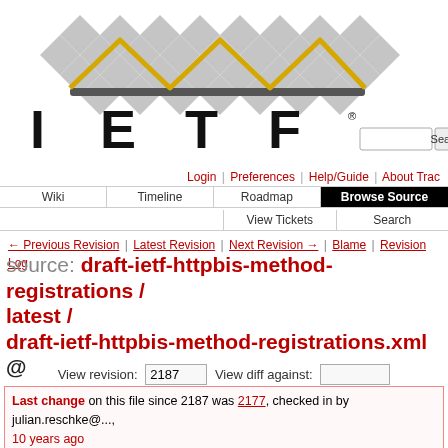[Figure (logo): IETF logo with diamond pattern and zigzag gold/yellow line, with IETF text and search box]
Login | Preferences | Help/Guide | About Trac
Wiki | Timeline | Roadmap | Browse Source | View Tickets | Search
← Previous Revision | Latest Revision | Next Revision → | Blame | Revision Log
source: draft-ietf-httpbis-method-registrations / latest / draft-ietf-httpbis-method-registrations.xml @ 2187
View revision: 2187   View diff against:
Last change on this file since 2187 was 2177, checked in by julian.reschke@..., 10 years ago
bump up document dates, update to latest version of rfc2629.xslt
Property svn:eol-style set to native
Property svn:executable set to *